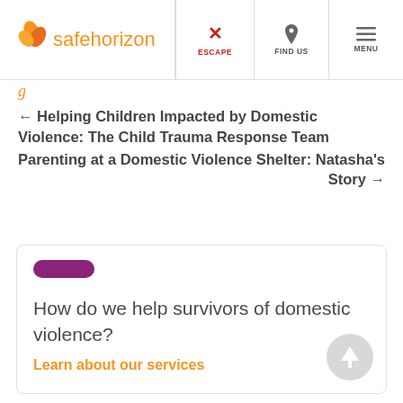[Figure (logo): Safe Horizon logo with orange flower/leaf icon and orange text 'safehorizon']
[Figure (screenshot): Navigation bar with ESCAPE (red X), FIND US (location pin), and MENU (hamburger) buttons]
g
← Helping Children Impacted by Domestic Violence: The Child Trauma Response Team
Parenting at a Domestic Violence Shelter: Natasha's Story →
[Figure (illustration): Purple pill/capsule shape decorative element]
How do we help survivors of domestic violence?
Learn about our services